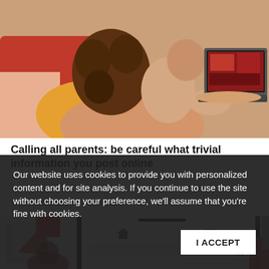[Figure (photo): A parent and child sitting together, child leaning back on parent, both looking at a laptop screen with a red interface visible on the screen. Warm couch/cushion setting.]
Calling all parents: be careful what trivial information you post online
Wednesday, September 16, 2020
[Figure (screenshot): A blurred/partial screenshot of a website or app interface showing red graphic elements, a smartphone mockup, navigation icons, and a search bar.]
Our website uses cookies to provide you with personalized content and for site analysis. If you continue to use the site without choosing your preference, we'll assume that you're fine with cookies.